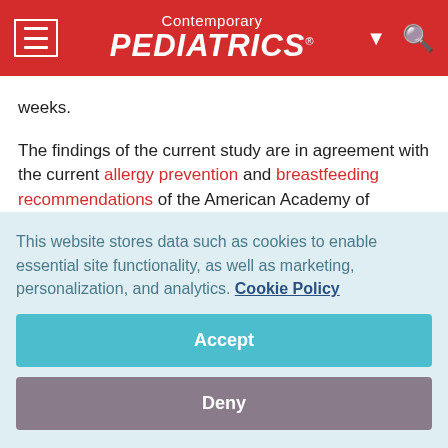Contemporary PEDIATRICS
weeks.
The findings of the current study are in agreement with the current allergy prevention and breastfeeding recommendations of the American Academy of Pediatrics.
To get weekly clinical advice for today's pediatrician,
This website stores data such as cookies to enable essential site functionality, as well as marketing, personalization, and analytics. Cookie Policy
Accept
Deny